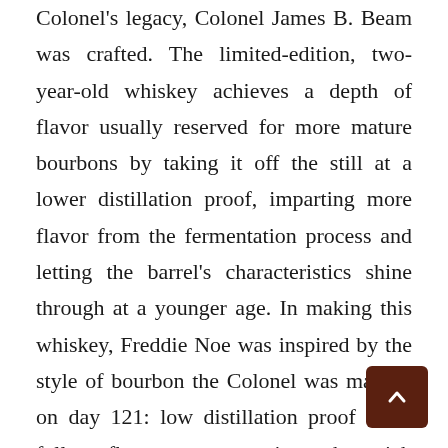Colonel's legacy, Colonel James B. Beam was crafted. The limited-edition, two-year-old whiskey achieves a depth of flavor usually reserved for more mature bourbons by taking it off the still at a lower distillation proof, imparting more flavor from the fermentation process and letting the barrel's characteristics shine through at a younger age. In making this whiskey, Freddie Noe was inspired by the style of bourbon the Colonel was making on day 121: low distillation proof for a fuller flavor, guaranteeing the rich complexity of the young whiskey stays intact.